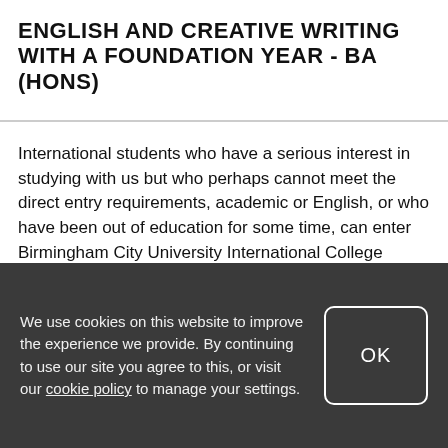ENGLISH AND CREATIVE WRITING WITH A FOUNDATION YEAR - BA (HONS)
International students who have a serious interest in studying with us but who perhaps cannot meet the direct entry requirements, academic or English, or who have been out of education for some time, can enter Birmingham City University International College (BCUIC) and begin their degree studies.
BCUIC is part of the global Navitas Group, an internationally recognised education provider, and the
We use cookies on this website to improve the experience we provide. By continuing to use our site you agree to this, or visit our cookie policy to manage your settings.